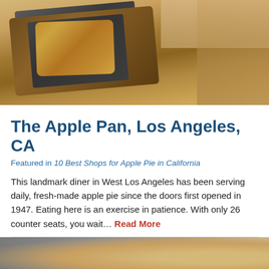[Figure (photo): Photo of apple pie on a slate plate on a wooden serving board, with a person's hand and blonde hair visible in the background]
The Apple Pan, Los Angeles, CA
Featured in 10 Best Shops for Apple Pie in California
This landmark diner in West Los Angeles has been serving daily, fresh-made apple pie since the doors first opened in 1947. Eating here is an exercise in patience. With only 26 counter seats, you wait… Read More
[Figure (photo): Partial photo of what appears to be a pie or pastry on a dark surface, cropped at bottom of page]